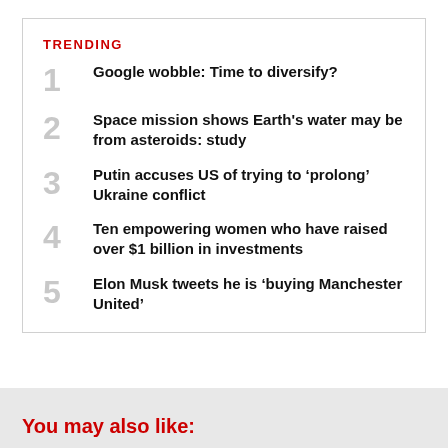TRENDING
Google wobble: Time to diversify?
Space mission shows Earth's water may be from asteroids: study
Putin accuses US of trying to ‘prolong’ Ukraine conflict
Ten empowering women who have raised over $1 billion in investments
Elon Musk tweets he is ‘buying Manchester United’
You may also like: